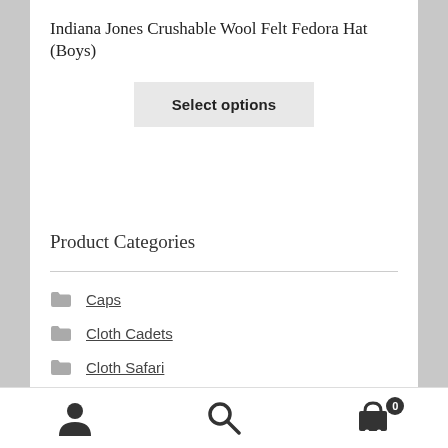Indiana Jones Crushable Wool Felt Fedora Hat (Boys)
Select options
Product Categories
Caps
Cloth Cadets
Cloth Safari
Crushable Wool Felt
user icon | search icon | cart icon with badge 0